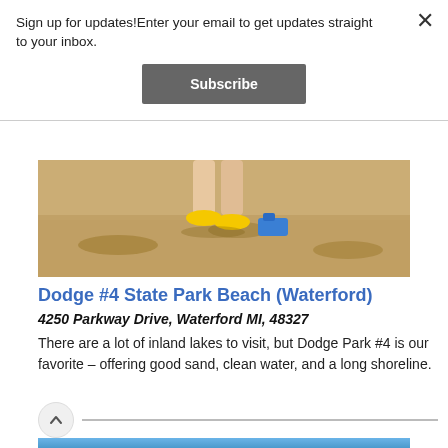Sign up for updates!Enter your email to get updates straight to your inbox.
Subscribe
[Figure (photo): Beach scene showing sandy ground with a child's feet wearing yellow sandals and a blue toy, casting shadows on the sand.]
Dodge #4 State Park Beach (Waterford)
4250 Parkway Drive, Waterford MI, 48327
There are a lot of inland lakes to visit, but Dodge Park #4 is our favorite – offering good sand, clean water, and a long shoreline.
[Figure (photo): Partial view of a second beach location image at the bottom of the page, showing blue sky.]